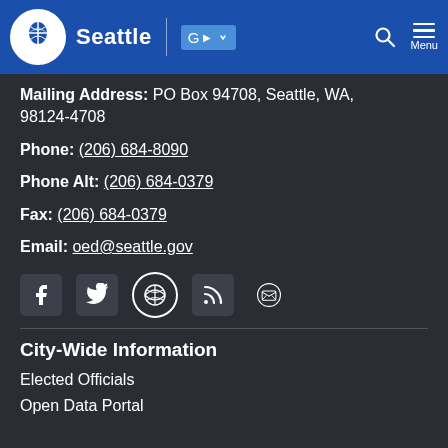Seattle
Mailing Address: PO Box 94708, Seattle, WA, 98124-4708
Phone: (206) 684-8090
Phone Alt: (206) 684-0379
Fax: (206) 684-0379
Email: oed@seattle.gov
[Figure (infographic): Social media icons: Facebook, Twitter, WordPress, RSS, Email]
City-Wide Information
Elected Officials
Open Data Portal